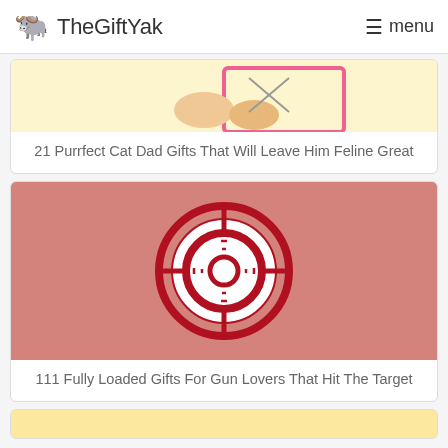TheGiftYak — menu
[Figure (illustration): Partial illustration on yellow background showing hands with a letter/card and pink border elements]
21 Purrfect Cat Dad Gifts That Will Leave Him Feline Great
[Figure (illustration): Crosshair/sniper scope icon on a salmon/pink-red background]
111 Fully Loaded Gifts For Gun Lovers That Hit The Target
[Figure (illustration): Partial yellow/orange image cut off at bottom of page]